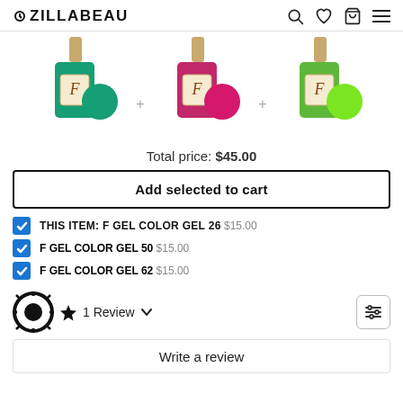OZILLABEAU
[Figure (photo): Three nail polish bottles: F Gel Color Gel 26 (teal/green), F Gel Color Gel 50 (magenta/pink), F Gel Color Gel 62 (neon green), each with gold cap and color swatch circle, separated by plus icons]
Total price: $45.00
Add selected to cart
THIS ITEM: F GEL COLOR GEL 26  $15.00
F GEL COLOR GEL 50  $15.00
F GEL COLOR GEL 62  $15.00
1 Review
Write a review